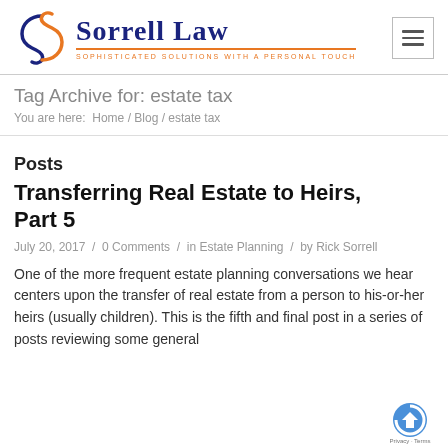[Figure (logo): Sorrell Law firm logo with stylized S icon, firm name in dark blue serif font, orange underline, and tagline 'SOPHISTICATED SOLUTIONS WITH A PERSONAL TOUCH' in orange]
Tag Archive for: estate tax
You are here: Home / Blog / estate tax
Posts
Transferring Real Estate to Heirs, Part 5
July 20, 2017 / 0 Comments / in Estate Planning / by Rick Sorrell
One of the more frequent estate planning conversations we hear centers upon the transfer of real estate from a person to his-or-her heirs (usually children). This is the fifth and final post in a series of posts reviewing some general